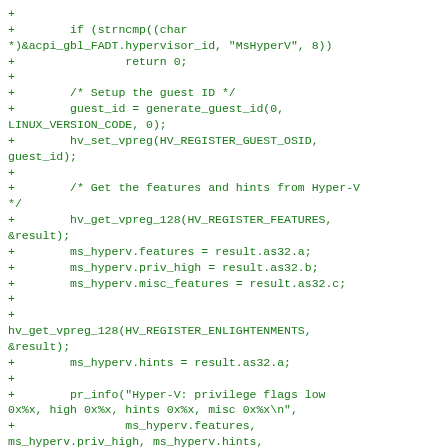[Figure (other): Source code diff showing Linux kernel Hyper-V initialization code in green monospace font on white background]